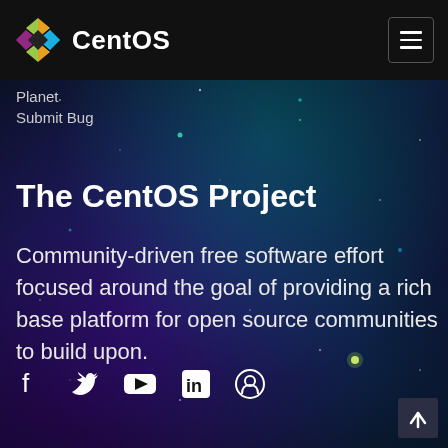CentOS
Planet
Submit Bug
The CentOS Project
Community-driven free software effort focused around the goal of providing a rich base platform for open source communities to build upon.
[Figure (other): Social media icons row: Facebook, Twitter, YouTube, LinkedIn, Reddit]